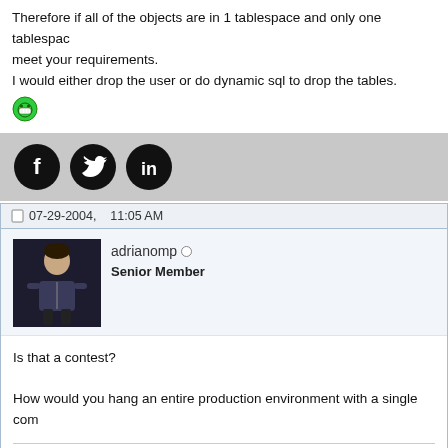Therefore if all of the objects are in 1 tablespace and only one tablespace meet your requirements.
I would either drop the user or do dynamic sql to drop the tables.
[Figure (illustration): Green smiling emoji/emoticon face]
[Figure (illustration): Social sharing bar with Facebook, Twitter, and LinkedIn icons]
07-29-2004,    11:05 AM
[Figure (illustration): Avatar image of adrianomp - a 3D character figure]
adrianomp
Senior Member
Is that a contest?

How would you hang an entire production environment with a single com
An ounce of action is worth a ton of theory.
—Friedrich Engels
[Figure (illustration): Social sharing bar with Facebook, Twitter, and LinkedIn icons at bottom]